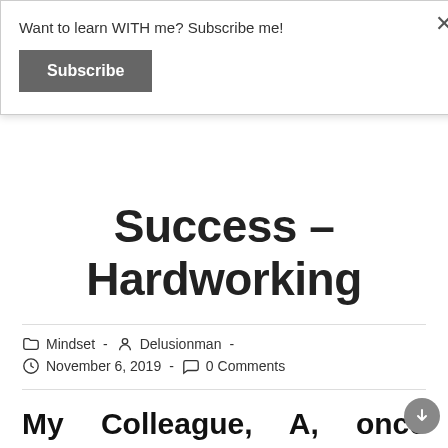Want to learn WITH me? Subscribe me!
Subscribe
Success – Hardworking
Mindset  -  Delusionman  -  November 6, 2019  -  0 Comments
My Colleague, A, once shared a screenshot in the whatsapp group. I can see nothing two